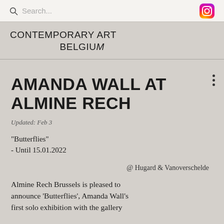Search...
CONTEMPORARY ART BELGIUM
AMANDA WALL AT ALMINE RECH
Updated: Feb 3
"Butterflies"
- Until 15.01.2022
@ Hugard & Vanoverschelde
Almine Rech Brussels is pleased to announce 'Butterflies', Amanda Wall's first solo exhibition with the gallery